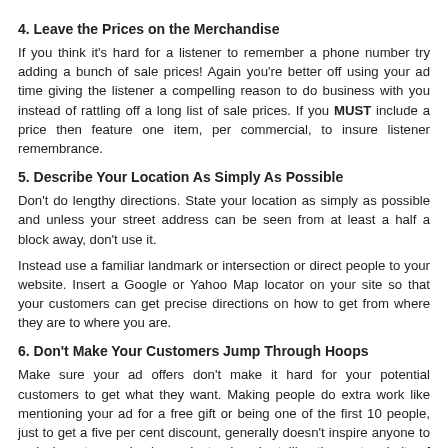4. Leave the Prices on the Merchandise
If you think it's hard for a listener to remember a phone number try adding a bunch of sale prices! Again you're better off using your ad time giving the listener a compelling reason to do business with you instead of rattling off a long list of sale prices. If you MUST include a price then feature one item, per commercial, to insure listener remembrance.
5. Describe Your Location As Simply As Possible
Don't do lengthy directions. State your location as simply as possible and unless your street address can be seen from at least a half a block away, don't use it.
Instead use a familiar landmark or intersection or direct people to your website. Insert a Google or Yahoo Map locator on your site so that your customers can get precise directions on how to get from where they are to where you are.
6. Don't Make Your Customers Jump Through Hoops
Make sure your ad offers don't make it hard for your potential customers to get what they want. Making people do extra work like mentioning your ad for a free gift or being one of the first 10 people, just to get a five per cent discount, generally doesn't inspire anyone to rush down to your business. Instead you're telling the vast majority of potential customers that they have to do something extra besides just showing up at your store. The only time this approach gets results is if the payoff is incredible (like giving away a million dollars to the first caller).